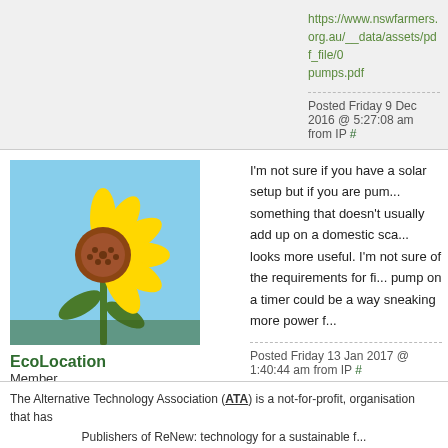https://www.nswfarmers.org.au/__data/assets/pdf_file/0... pumps.pdf
Posted Friday 9 Dec 2016 @ 5:27:08 am from IP #
[Figure (photo): Sunflower against blue sky avatar image]
EcoLocation
Member
I'm not sure if you have a solar setup but if you are pum... something that doesn't usually add up on a domestic sca... looks more useful. I'm not sure of the requirements for fi... pump on a timer could be a way sneaking more power f...
Posted Friday 13 Jan 2017 @ 1:40:44 am from IP #
The Alternative Technology Association (ATA) is a not-for-profit, organisation that has... Publishers of ReNew: technology for a sustainable f...